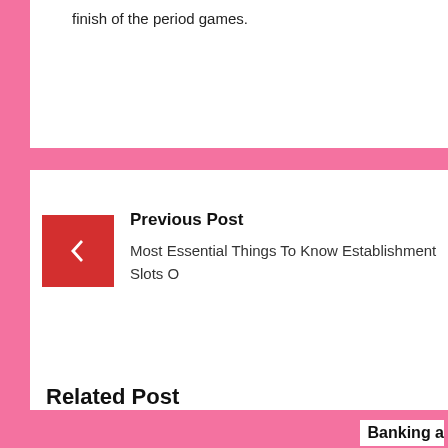finish of the period games.
Previous Post
Most Essential Things To Know Establishment Slots O
Related Post
Banking a